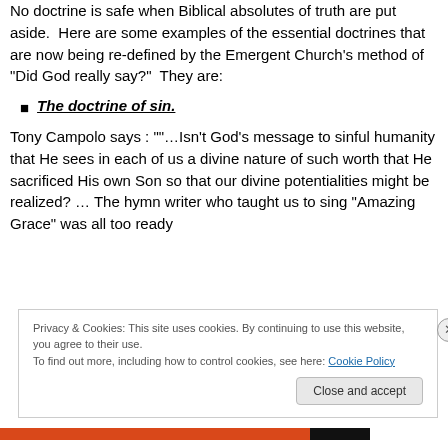No doctrine is safe when Biblical absolutes of truth are put aside. Here are some examples of the essential doctrines that are now being re-defined by the Emergent Church's method of "Did God really say?" They are:
The doctrine of sin.
Tony Campolo says : ""…Isn't God's message to sinful humanity that He sees in each of us a divine nature of such worth that He sacrificed His own Son so that our divine potentialities might be realized? … The hymn writer who taught us to sing "Amazing Grace" was all too ready
Privacy & Cookies: This site uses cookies. By continuing to use this website, you agree to their use.
To find out more, including how to control cookies, see here: Cookie Policy